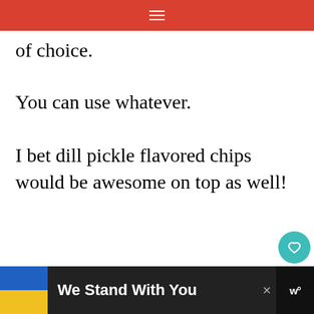☰
of choice.
You can use whatever.
I bet dill pickle flavored chips would be awesome on top as well!
ADVERTISEMENT
WHAT'S NEXT → Chocolate Chip Cookie...
We Stand With You